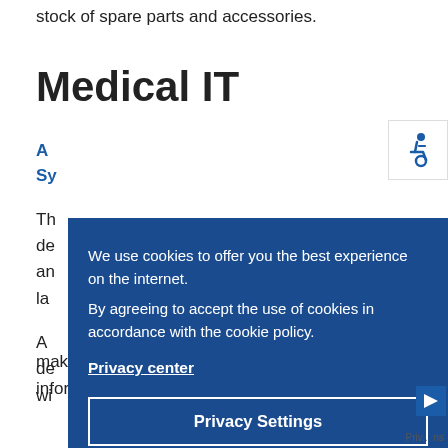stock of spare parts and accessories.
Medical IT
Ac Sy
Th de an la
A de wi
making process is automatically applied to the patient information and analyzed against all available patient
[Figure (screenshot): Cookie consent overlay on a blue background with text: 'We use cookies to offer you the best experience on the internet. By agreeing to accept the use of cookies in accordance with the cookie policy.' with a 'Privacy center' link and two buttons: 'Privacy Settings' (outlined) and 'Accept' (white background).]
[Figure (other): Accessibility icon (wheelchair symbol) in blue on white square background in top right corner.]